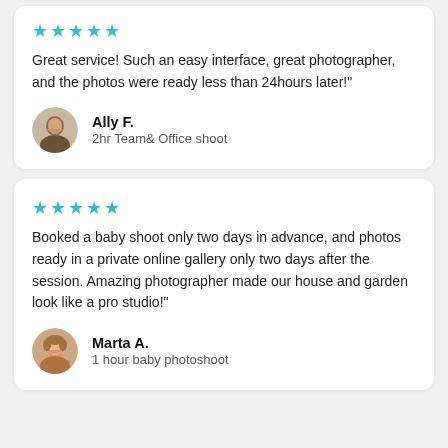★★★★★
Great service! Such an easy interface, great photographer, and the photos were ready less than 24hours later!"
Ally F.
2hr Team& Office shoot
★★★★★
Booked a baby shoot only two days in advance, and photos ready in a private online gallery only two days after the session. Amazing photographer made our house and garden look like a pro studio!"
Marta A.
1 hour baby photoshoot